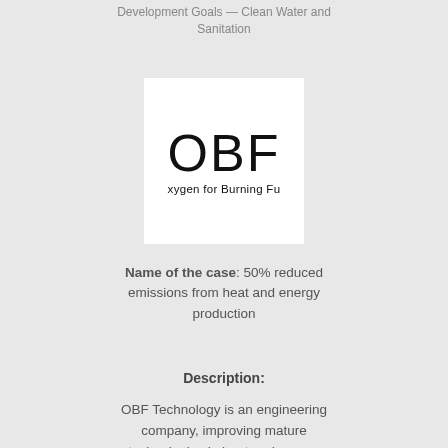Development Goals — Clean Water and Sanitation
[Figure (logo): OBF logo: white square with large letters OBF and subtitle 'xygen for Burning Fu']
Name of the case: 50% reduced emissions from heat and energy production
Description:
OBF Technology is an engineering company, improving mature technologies in heat and energy